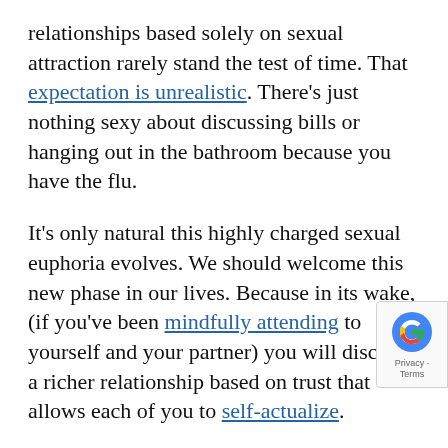relationships based solely on sexual attraction rarely stand the test of time. That expectation is unrealistic. There's just nothing sexy about discussing bills or hanging out in the bathroom because you have the flu.
It's only natural this highly charged sexual euphoria evolves. We should welcome this new phase in our lives. Because in its wake, (if you've been mindfully attending to yourself and your partner) you will discover a richer relationship based on trust that allows each of you to self-actualize.
One problem I see is that people become consumed by being what their partner wants them to be. Eventually you don't know who you are any more. If you view your mate as your best friend, it may even make you